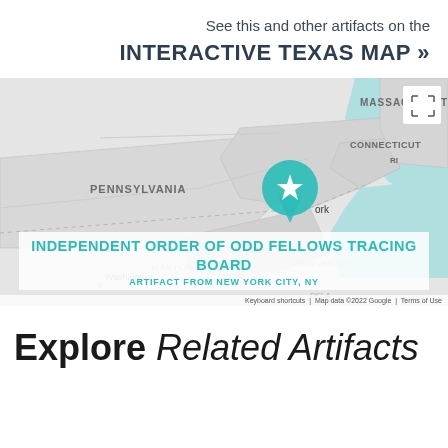See this and other artifacts on the
INTERACTIVE TEXAS MAP »
[Figure (map): Google Map showing northeastern United States including Massachusetts, Connecticut, Rhode Island, Pennsylvania, New York, Maryland, New Jersey, Delaware. A teal star pin marker is placed over New York City area. Map data ©2022 Google.]
INDEPENDENT ORDER OF ODD FELLOWS TRACING BOARD
ARTIFACT FROM NEW YORK CITY, NY
Keyboard shortcuts  Map data ©2022 Google  Terms of Use
Explore Related Artifacts